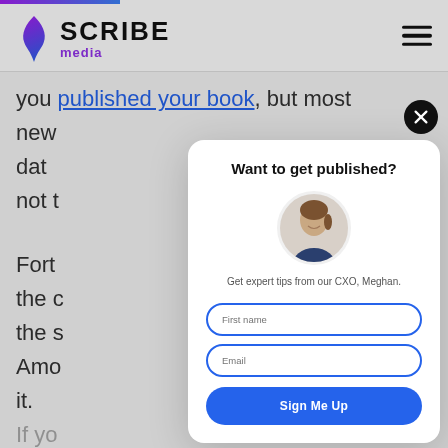[Figure (screenshot): Scribe Media website screenshot with a modal popup overlay titled 'Want to get published?' featuring a photo of CXO Meghan, a subtitle 'Get expert tips from our CXO, Meghan.', First name and Email input fields, and a 'Sign Me Up' button. The background shows partially obscured article text and the Scribe Media logo navbar.]
Want to get published?
Get expert tips from our CXO, Meghan.